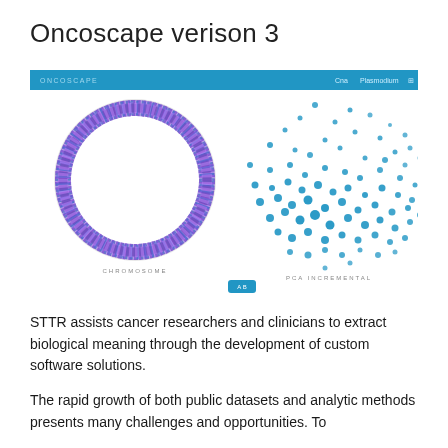Oncoscape verison 3
[Figure (screenshot): Screenshot of Oncoscape version 3 interface showing two panels: left panel displays a circular chromosome ring visualization with multicolored segments in purple/blue tones labeled 'CHROMOSOME'; right panel shows a PCA INCREMENTAL scatter plot with many blue dots clustered in a cloud pattern. The top bar shows 'ONCOSCAPE' branding with navigation options 'Cna' and 'Plasmodium'.]
STTR assists cancer researchers and clinicians to extract biological meaning through the development of custom software solutions.
The rapid growth of both public datasets and analytic methods presents many challenges and opportunities. To